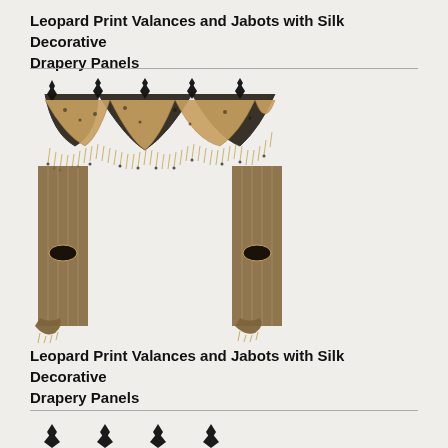Leopard Print Valances and Jabots with Silk Decorative Drapery Panels
[Figure (photo): Ornate leopard print valance with jabots and silk decorative drapery panels, featuring black lace overlay with gold/tan silk fabric, decorative fringe trim, and tieback panels on each side.]
Leopard Print Valances and Jabots with Silk Decorative Drapery Panels
[Figure (photo): Partial view of another leopard print valance showing the decorative top portion with diamond-shaped ornamental finials across the top edge.]